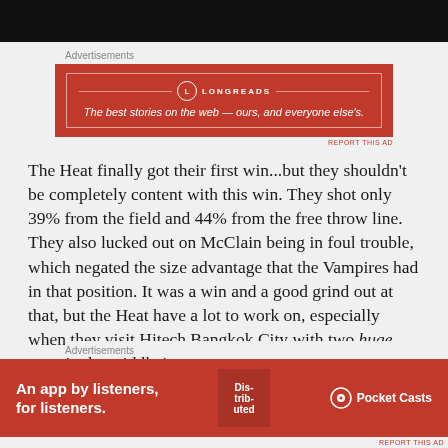[Figure (other): Black bar at top of page (partial image/video thumbnail)]
Advertisements
[Figure (other): Longreads advertisement banner: red background with logo and tagline 'The best stories on the web — ours, and everyone else's.']
The Heat finally got their first win...but they shouldn't be completely content with this win. They shot only 39% from the field and 44% from the free throw line. They also lucked out on McClain being in foul trouble, which negated the size advantage that the Vampires had in that position. It was a win and a good grind out at that, but the Heat have a lot to work on, especially when they visit Hitech Bangkok City with two huge guys in the middle in the
Advertisements
[Figure (other): Pocket Casts advertisement: 'An app by listeners, for listeners.' with phone graphic and Pocket Casts logo on red background]